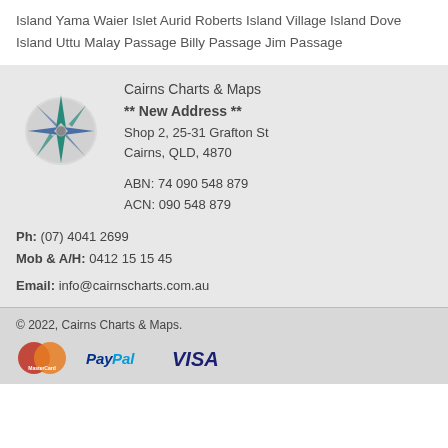Island Yama Waier Islet Aurid Roberts Island Village Island Dove Island Uttu Malay Passage Billy Passage Jim Passage
[Figure (logo): Cairns Charts & Maps compass rose logo]
Cairns Charts & Maps ** New Address ** Shop 2, 25-31 Grafton St Cairns, QLD, 4870 ABN: 74 090 548 879 ACN: 090 548 879
Ph: (07) 4041 2699 Mob & A/H: 0412 15 15 45
Email: info@cairnscharts.com.au
© 2022, Cairns Charts & Maps.
[Figure (logo): MasterCard, PayPal, and VISA payment logos]